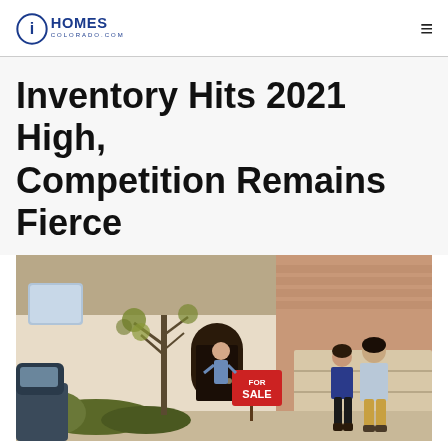iHOMES COLORADO.COM
Inventory Hits 2021 High, Competition Remains Fierce
[Figure (photo): A couple standing on a driveway looking at a house for sale, with a real estate agent visible at the front door and a red FOR SALE sign in the yard. The home has brick and stone exterior. A car is partially visible in the foreground.]